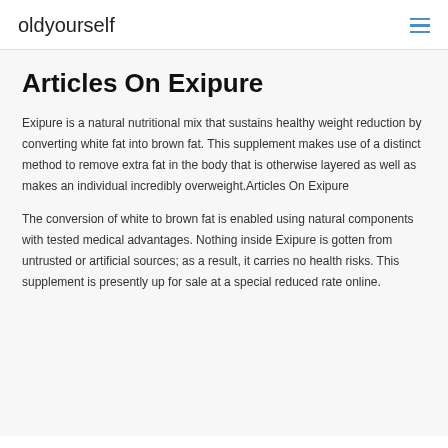oldyourself
Articles On Exipure
Exipure is a natural nutritional mix that sustains healthy weight reduction by converting white fat into brown fat. This supplement makes use of a distinct method to remove extra fat in the body that is otherwise layered as well as makes an individual incredibly overweight.Articles On Exipure
The conversion of white to brown fat is enabled using natural components with tested medical advantages. Nothing inside Exipure is gotten from untrusted or artificial sources; as a result, it carries no health risks. This supplement is presently up for sale at a special reduced rate online.